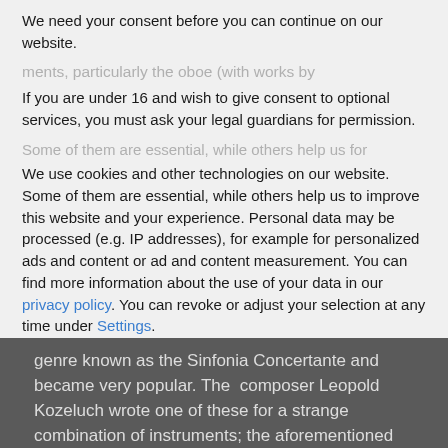We need your consent before you can continue on our website.
If you are under 16 and wish to give consent to optional services, you must ask your legal guardians for permission.
We use cookies and other technologies on our website. Some of them are essential, while others help us to improve this website and your experience. Personal data may be processed (e.g. IP addresses), for example for personalized ads and content or ad and content measurement. You can find more information about the use of your data in our privacy policy. You can revoke or adjust your selection at any time under Settings.
Essential
Essential cookies enable basic functions and are necessary for the proper function of the website.
genre known as the Sinfonia Concertante and became very popular. The  composer Leopold Kozeluch wrote one of these for a strange combination of instruments; the aforementioned Vionnoso double bass and mandolin as well as the